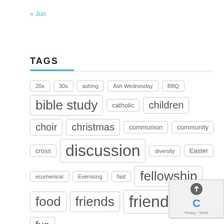« Jun
TAGS
20s
30s
ashing
Ash Wednesday
BBQ
bible study
catholic
children
choir
christmas
communion
community
cross
discussion
diversity
Easter
ecumenical
Evensong
fast
fellowship
food
friends
friendship
fun